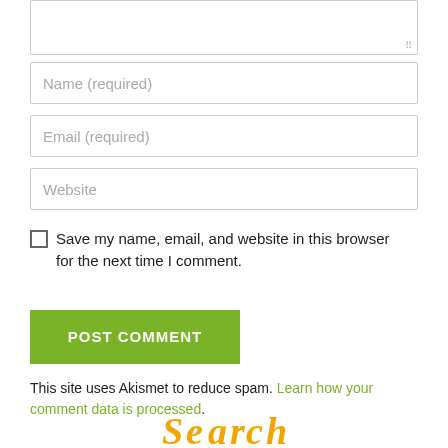[Figure (screenshot): Textarea input box (comment field) with resize handle at bottom right]
Name (required)
Email (required)
Website
Save my name, email, and website in this browser for the next time I comment.
POST COMMENT
This site uses Akismet to reduce spam. Learn how your comment data is processed.